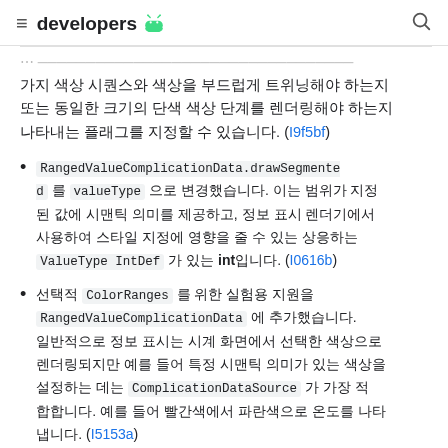developers
가지 색상 시퀀스와 색상을 부드럽게 트위닝해야 하는지 또는 동일한 크기의 단색 색상 단계를 렌더링해야 하는지 나타내는 플래그를 지정할 수 있습니다. (I9f5bf)
RangedValueComplicationData.drawSegmented 를 valueType 으로 변경했습니다. 이는 범위가 지정된 값에 시맨틱 의미를 제공하고, 정보 표시 렌더기에서 사용하여 스타일 지정에 영향을 줄 수 있는 상응하는 ValueType IntDef 가 있는 int입니다. (I0616b)
선택적 ColorRanges 를 위한 실험용 지원을 RangedValueComplicationData 에 추가했습니다. 일반적으로 정보 표시는 시계 화면에서 선택한 색상으로 렌더링되지만 예를 들어 특정 시맨틱 의미가 있는 색상을 설정하는 데는 ComplicationDataSource 가 가장 적합합니다. 예를 들어 빨간색에서 파란색으로 온도를 나타냅니다. (I5153a)